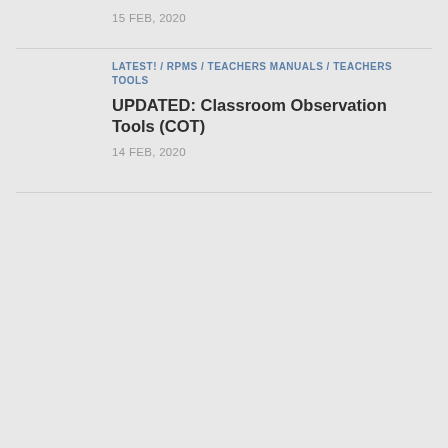15 FEB, 2020
LATEST! / RPMS / TEACHERS MANUALS / TEACHERS TOOLS
UPDATED: Classroom Observation Tools (COT)
14 FEB, 2020